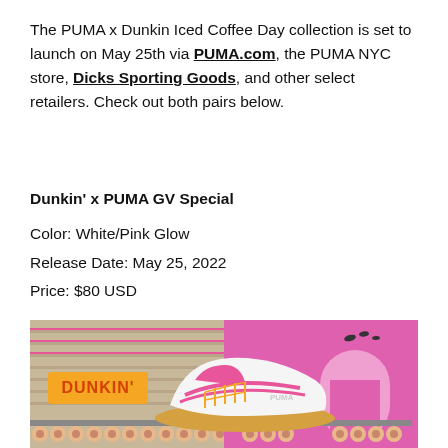The PUMA x Dunkin Iced Coffee Day collection is set to launch on May 25th via PUMA.com, the PUMA NYC store, Dicks Sporting Goods, and other select retailers. Check out both pairs below.
Dunkin' x PUMA GV Special
Color: White/Pink Glow
Release Date: May 25, 2022
Price: $80 USD
[Figure (photo): Marketing photo of PUMA x Dunkin sneaker (white with pink accents) displayed against a split background: left side shows a Dunkin store exterior with donuts along a shelf, right side shows a pink room with an archway and donuts on a ledge.]